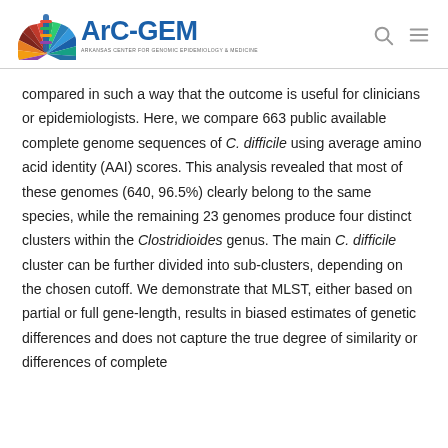ArC-GEM — Arkansas Center for Genomic Epidemiology & Medicine
compared in such a way that the outcome is useful for clinicians or epidemiologists. Here, we compare 663 public available complete genome sequences of C. difficile using average amino acid identity (AAI) scores. This analysis revealed that most of these genomes (640, 96.5%) clearly belong to the same species, while the remaining 23 genomes produce four distinct clusters within the Clostridioides genus. The main C. difficile cluster can be further divided into sub-clusters, depending on the chosen cutoff. We demonstrate that MLST, either based on partial or full gene-length, results in biased estimates of genetic differences and does not capture the true degree of similarity or differences of complete